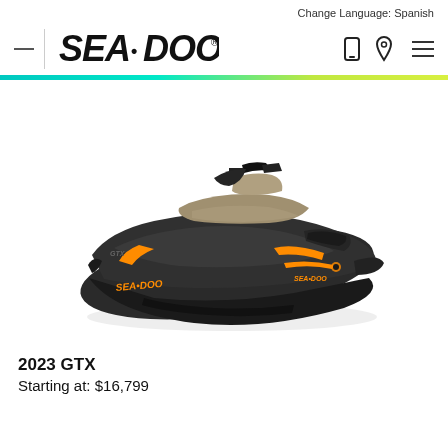Change Language: Spanish
[Figure (logo): Sea-Doo brand logo in bold italic black text with registered trademark symbol]
[Figure (photo): 2023 Sea-Doo GTX personal watercraft in dark black/charcoal color with orange accents and tan seat, shown at an angle on white background]
2023 GTX
Starting at: $16,799